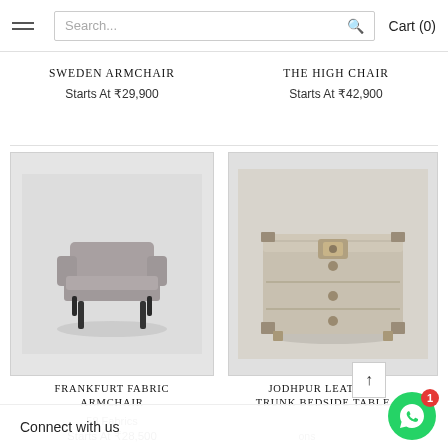Search... Cart (0)
SWEDEN ARMCHAIR
Starts At ₹29,900
THE HIGH CHAIR
Starts At ₹42,900
[Figure (photo): Frankfurt Fabric Armchair product photo showing a grey upholstered modern armchair with tapered dark legs on a grey background]
[Figure (photo): Jodhpur Leather Trunk Bedside Table product photo showing a whitewashed wooden trunk-style dresser with brass hardware on a grey background]
FRANKFURT FABRIC ARMCHAIR
58 Fabrics
Starts At ₹28,500
JODHPUR LEATHER TRUNK BEDSIDE TABLE
Connect with us